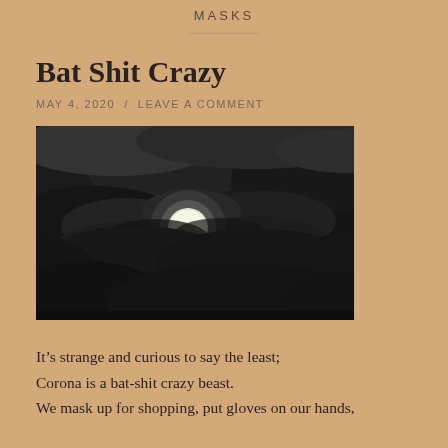MASKS
Bat Shit Crazy
MAY 4, 2020  /  LEAVE A COMMENT
[Figure (photo): Black and white photograph of a full moon partially obscured by dark dramatic clouds at night]
It’s strange and curious to say the least;
Corona is a bat-shit crazy beast.
We mask up for shopping, put gloves on our hands,